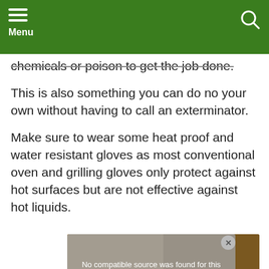Menu
chemicals or poison to get the job done.
This is also something you can do no your own without having to call an exterminator.
Make sure to wear some heat proof and water resistant gloves as most conventional oven and grilling gloves only protect against hot surfaces but are not effective against hot liquids.
[Figure (screenshot): Video player overlay showing 'No compatible source was found for this media.' message with background showing smoked food image with text 'TO MAKE SMOKED']